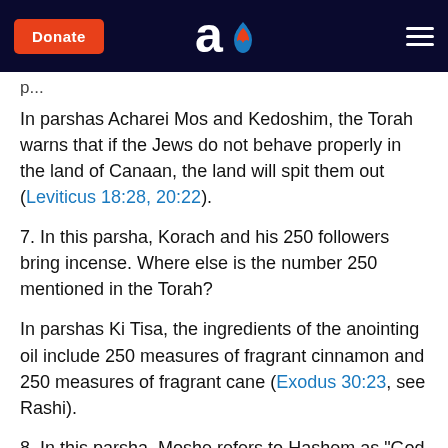Donate | aish.com logo | menu
p...
In parshas Acharei Mos and Kedoshim, the Torah warns that if the Jews do not behave properly in the land of Canaan, the land will spit them out (Leviticus 18:28, 20:22).
7. In this parsha, Korach and his 250 followers bring incense. Where else is the number 250 mentioned in the Torah?
In parshas Ki Tisa, the ingredients of the anointing oil include 250 measures of fragrant cinnamon and 250 measures of fragrant cane (Exodus 30:23, see Rashi).
8. In this parsha, Moshe refers to Hashem as "God of the spirits of all flesh" (Numbers 16:22). Where else in